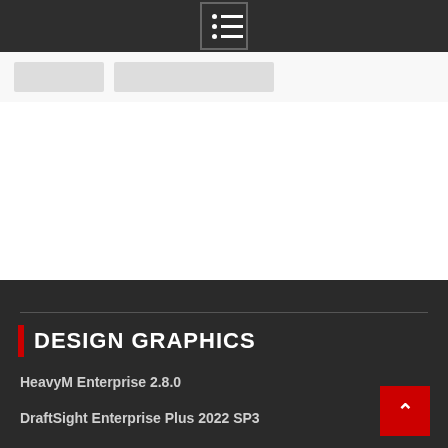[Figure (screenshot): Dark navigation top bar with a hamburger/list menu icon centered, white lines with dots on left side]
[Figure (screenshot): Two gray placeholder buttons on a light gray background row]
DESIGN GRAPHICS
HeavyM Enterprise 2.8.0
DraftSight Enterprise Plus 2022 SP3
Autodesk Inventor Nastran 2023